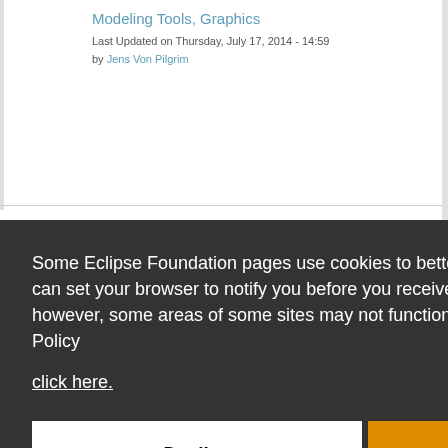Modeling Tools, Graphics
Last Updated on Thursday, July 17, 2014 - 14:59 by Jens Von Pilgrim
Some Eclipse Foundation pages use cookies to better serve you when you return to the site. You can set your browser to notify you before you receive a cookie or turn off cookies. If you do so, however, some areas of some sites may not function properly. To read Eclipse Foundation Privacy Policy click here.
Decline
Allow cookies
1  2  next ›  last »